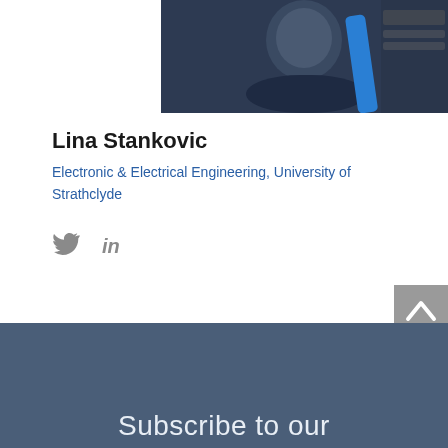[Figure (photo): Photo of Lina Stankovic wearing a dark navy turtleneck sweater with a blue bag strap visible]
Lina Stankovic
Electronic & Electrical Engineering, University of Strathclyde
[Figure (other): Social media icons: Twitter bird icon and LinkedIn 'in' icon in grey]
[Figure (other): Back to top button with upward arrow on grey background]
Subscribe to our